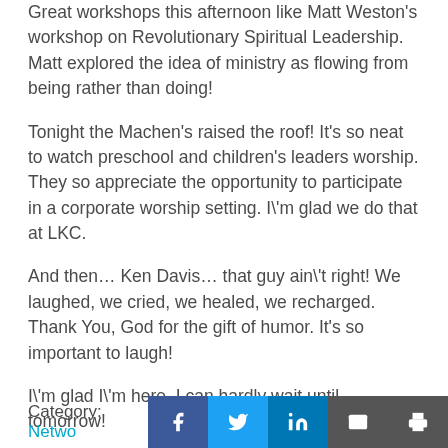Great workshops this afternoon like Matt Weston's workshop on Revolutionary Spiritual Leadership. Matt explored the idea of ministry as flowing from being rather than doing!
Tonight the Machen's raised the roof! It's so neat to watch preschool and children's leaders worship. They so appreciate the opportunity to participate in a corporate worship setting. I'm glad we do that at LKC.
And then… Ken Davis… that guy ain't right! We laughed, we cried, we healed, we recharged. Thank You, God for the gift of humor. It's so important to laugh!
I'm glad I'm here. I can hardly wait until tomorrow!
Category: Netwo